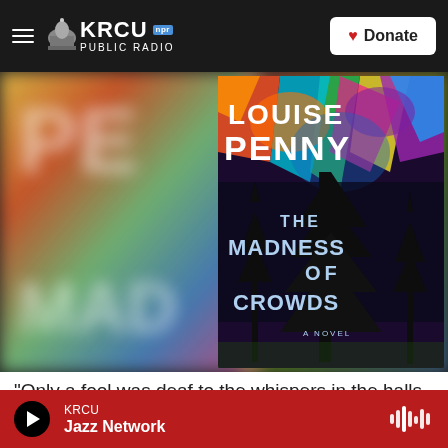KRCU NPR PUBLIC RADIO | Donate
[Figure (photo): Book cover of 'The Madness of Crowds' by Louise Penny — a novel. Cover features colorful abstract art with pine trees silhouetted at center. A blurred/enlarged version of the same cover fills the background behind the main cover image.]
“Only a fool was deaf to the whispers in the halls of power, now emboldened by Professor Robinson’s
KRCU Jazz Network